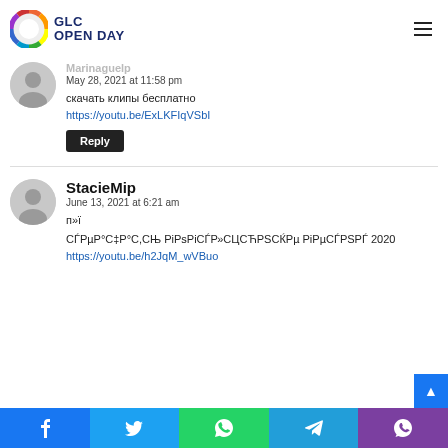GLC OPEN DAY
Marinaguelp
May 28, 2021 at 11:58 pm
скачать клипы бесплатно
https://youtu.be/ExLKFIqVSbI
Reply
StacieMip
June 13, 2021 at 6:21 am
п»ї
СЃРµР°С‡Р°С,СЊ РiРsPiСЃР»СЦСЋРЅСЌРmu РiРµСЃРЅРЃ 2020
https://youtu.be/h2JqM_wVBuo
f  t  w  send  viber